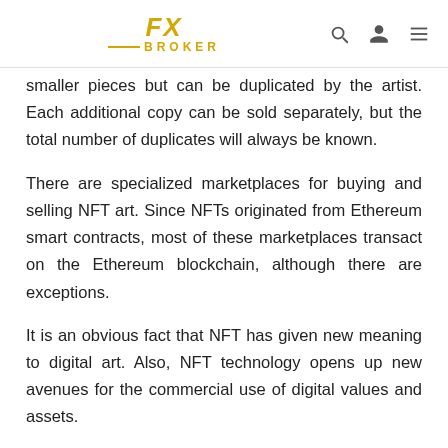FX BROKER
smaller pieces but can be duplicated by the artist. Each additional copy can be sold separately, but the total number of duplicates will always be known.
There are specialized marketplaces for buying and selling NFT art. Since NFTs originated from Ethereum smart contracts, most of these marketplaces transact on the Ethereum blockchain, although there are exceptions.
It is an obvious fact that NFT has given new meaning to digital art. Also, NFT technology opens up new avenues for the commercial use of digital values and assets.
NFT art has proven to be very profitable. According to experts' forecasts, the NFT art market will continue to